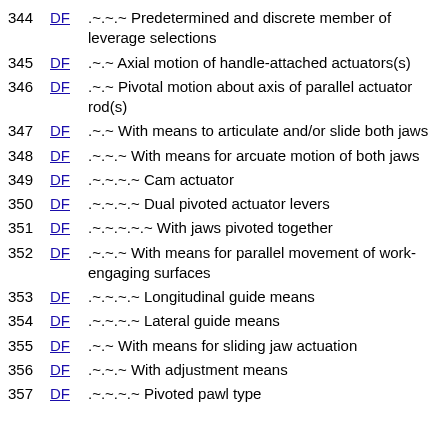344 DF .~.~.~ Predetermined and discrete member of leverage selections
345 DF .~.~ Axial motion of handle-attached actuators(s)
346 DF .~.~ Pivotal motion about axis of parallel actuator rod(s)
347 DF .~.~ With means to articulate and/or slide both jaws
348 DF .~.~.~ With means for arcuate motion of both jaws
349 DF .~.~.~.~ Cam actuator
350 DF .~.~.~.~ Dual pivoted actuator levers
351 DF .~.~.~.~.~ With jaws pivoted together
352 DF .~.~.~ With means for parallel movement of work-engaging surfaces
353 DF .~.~.~.~ Longitudinal guide means
354 DF .~.~.~.~ Lateral guide means
355 DF .~.~ With means for sliding jaw actuation
356 DF .~.~.~ With adjustment means
357 DF .~.~.~.~ Pivoted pawl type